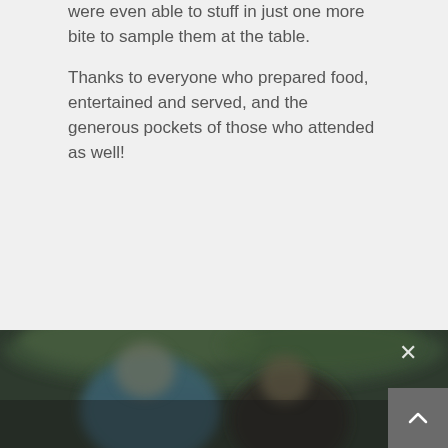were even able to stuff in just one more bite to sample them at the table.
Thanks to everyone who prepared food, entertained and served, and the generous pockets of those who attended as well!
[Figure (photo): A blurred photo of people outdoors, with a dark green background suggesting trees or foliage. An X close button is visible in the upper right of the photo.]